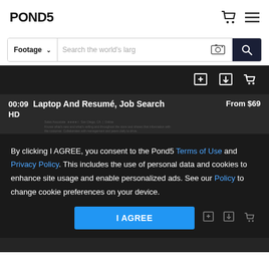POND5
Footage ∨  Search the world's larg
[Figure (screenshot): Dark image strip with add, download, and cart icons]
00:09  Laptop And Resumé, Job Search  From $69
HD
By clicking I AGREE, you consent to the Pond5 Terms of Use and Privacy Policy. This includes the use of personal data and cookies to enhance site usage and enable personalized ads. See our Policy to change cookie preferences on your device.
I AGREE
[Figure (screenshot): Bottom dark strip]